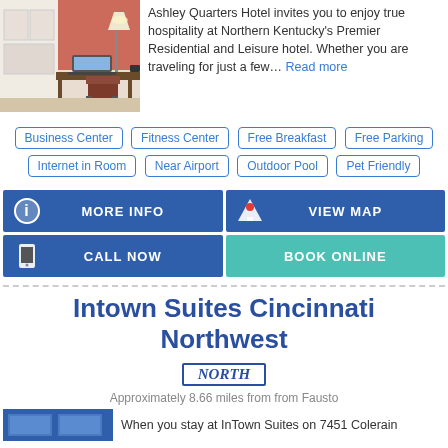[Figure (photo): Hotel room with desk, laptop, lamp and chair]
Ashley Quarters Hotel invites you to enjoy true hospitality at Northern Kentucky's Premier Residential and Leisure hotel. Whether you are traveling for just a few... Read more
Business Center
Fitness Center
Free Breakfast
Free Parking
Internet in Room
Near Airport
Outdoor Pool
Pet Friendly
MORE INFO
VIEW MAP
CALL NOW
BOOK ONLINE
Intown Suites Cincinnati Northwest
NORTH
Approximately 8.66 miles from from Fausto
[Figure (photo): Hotel exterior or room photo]
When you stay at InTown Suites on 7451 Colerain